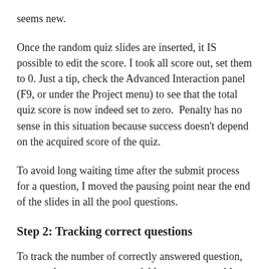seems new.
Once the random quiz slides are inserted, it IS possible to edit the score. I took all score out, set them to 0. Just a tip, check the Advanced Interaction panel (F9, or under the Project menu) to see that the total quiz score is now indeed set to zero.  Penalty has no sense in this situation because success doesn't depend on the acquired score of the quiz.
To avoid long waiting time after the submit process for a question, I moved the pausing point near the end of the slides in all the pool questions.
Step 2: Tracking correct questions
To track the number of correctly answered question, you need to create a user variable v_counter, with a